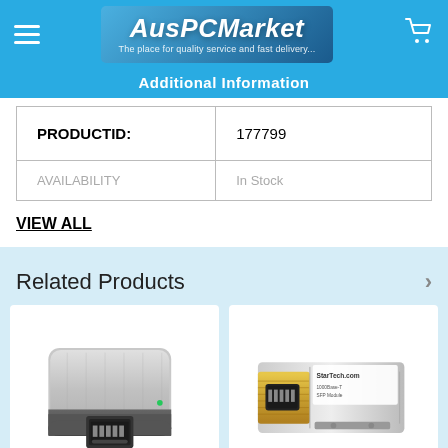AusPCMarket - The place for quality service and fast delivery...
Additional Information
| PRODUCTID: | 177799 |
| --- | --- |
| AVAILABILITY | In Stock |
VIEW ALL
Related Products
[Figure (photo): USB-C to Ethernet adapter - silver and dark grey colored compact device with RJ45 port]
[Figure (photo): StarTech.com SFP transceiver module - gold and silver metallic networking module with RJ45 port]